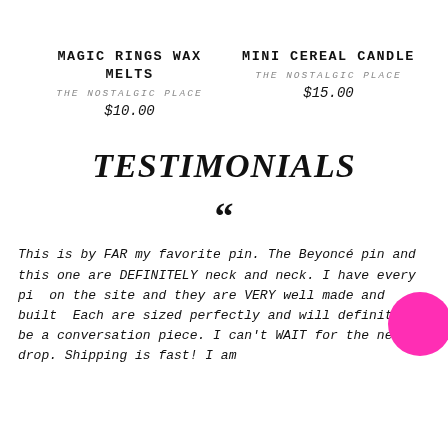MAGIC RINGS WAX MELTS
THE NOSTALGIC PLACE
$10.00
MINI CEREAL CANDLE
THE NOSTALGIC PLACE
$15.00
TESTIMONIALS
““
This is by FAR my favorite pin. The Beyoncé pin and this one are DEFINITELY neck and neck. I have every pi... on the site and they are VERY well made and built... Each are sized perfectly and will definitely be a conversation piece. I can't WAIT for the next drop. Shipping is fast! I am